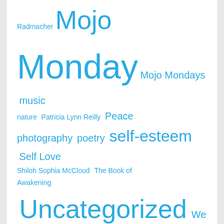Radmacher Mojo Monday Mojo Mondays music nature Patricia Lynn Reilly Peace photography poetry self-esteem Self Love Shiloh Sophia McCloud The Book of Awakening Uncategorized We Are All Meant to Shine Women Wonder WOW
Blog Stats
29,675 hits